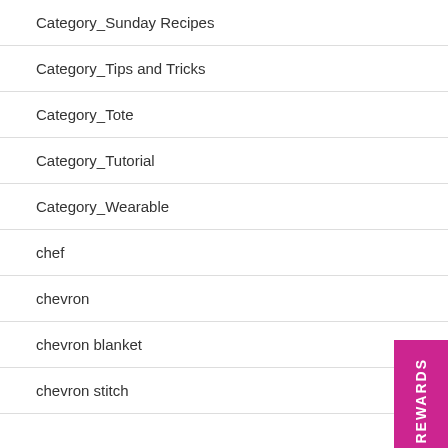Category_Sunday Recipes
Category_Tips and Tricks
Category_Tote
Category_Tutorial
Category_Wearable
chef
chevron
chevron blanket
chevron stitch